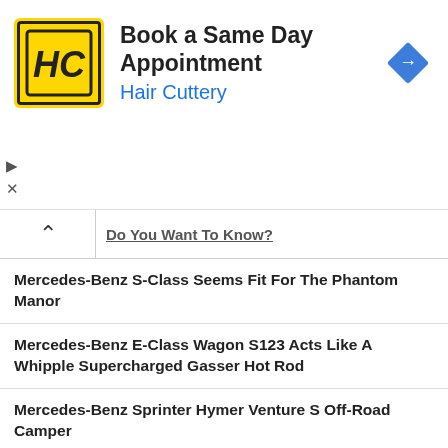[Figure (screenshot): Hair Cuttery advertisement banner with yellow logo, 'Book a Same Day Appointment' heading, 'Hair Cuttery' subtitle in blue, and a blue diamond-shaped direction arrow icon]
Do You Want To Know?
Mercedes-Benz S-Class Seems Fit For The Phantom Manor
Mercedes-Benz E-Class Wagon S123 Acts Like A Whipple Supercharged Gasser Hot Rod
Mercedes-Benz Sprinter Hymer Venture S Off-Road Camper
Mercedes-Benz Unimog 416 Doka Could Take You On Next Off-Road Adventure
2023 Mercedes-AMG C 63 Quietly Attacks The Nordschleife
Mercedes-Benz S 580 FILTHY Chrome